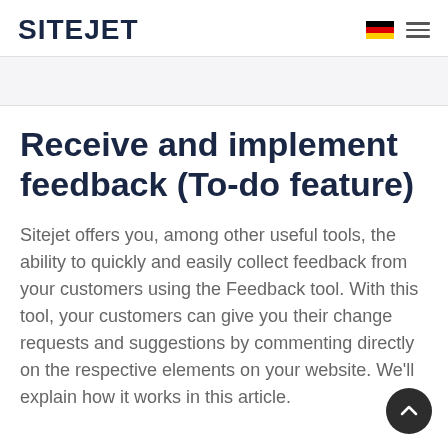SITEJET
Receive and implement feedback (To-do feature)
Sitejet offers you, among other useful tools, the ability to quickly and easily collect feedback from your customers using the Feedback tool. With this tool, your customers can give you their change requests and suggestions by commenting directly on the respective elements on your website. We'll explain how it works in this article.